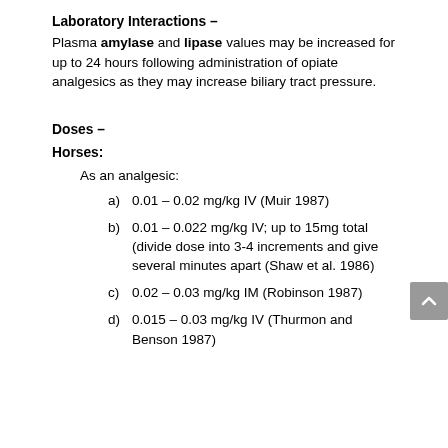Laboratory Interactions –
Plasma amylase and lipase values may be increased for up to 24 hours following administration of opiate analgesics as they may increase biliary tract pressure.
Doses –
Horses:
As an analgesic:
a)  0.01 – 0.02 mg/kg IV (Muir 1987)
b)  0.01 – 0.022 mg/kg IV; up to 15mg total (divide dose into 3-4 increments and give several minutes apart (Shaw et al. 1986)
c)  0.02 – 0.03 mg/kg IM (Robinson 1987)
d)  0.015 – 0.03 mg/kg IV (Thurmon and Benson 1987)